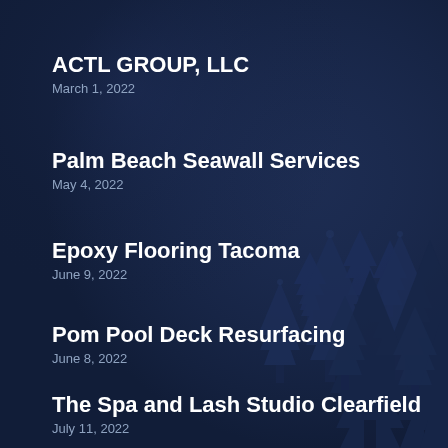ACTL GROUP, LLC
March 1, 2022
Palm Beach Seawall Services
May 4, 2022
Epoxy Flooring Tacoma
June 9, 2022
Pom Pool Deck Resurfacing
June 8, 2022
The Spa and Lash Studio Clearfield
July 11, 2022